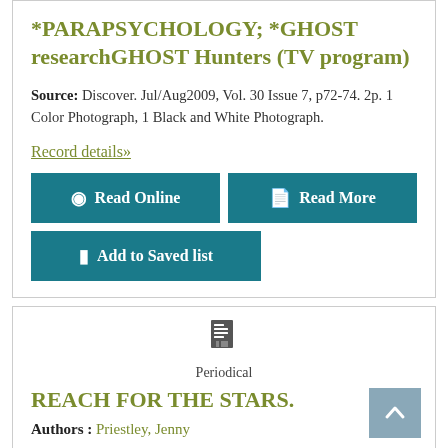*PARAPSYCHOLOGY; *GHOST researchGHOST Hunters (TV program)
Source: Discover. Jul/Aug2009, Vol. 30 Issue 7, p72-74. 2p. 1 Color Photograph, 1 Black and White Photograph.
Record details»
Read Online
Read More
Add to Saved list
[Figure (illustration): Periodical icon - document/file icon]
Periodical
REACH FOR THE STARS.
Authors : Priestley, Jenny